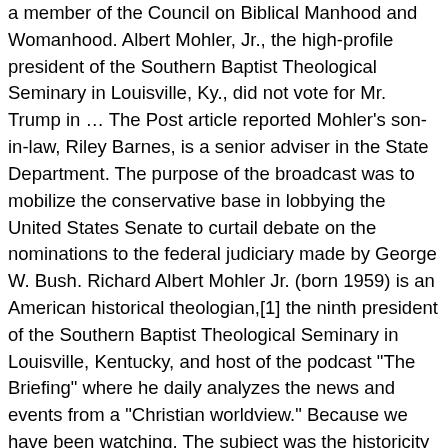a member of the Council on Biblical Manhood and Womanhood. Albert Mohler, Jr., the high-profile president of the Southern Baptist Theological Seminary in Louisville, Ky., did not vote for Mr. Trump in … The Post article reported Mohler's son-in-law, Riley Barnes, is a senior adviser in the State Department. The purpose of the broadcast was to mobilize the conservative base in lobbying the United States Senate to curtail debate on the nominations to the federal judiciary made by George W. Bush. Richard Albert Mohler Jr. (born 1959) is an American historical theologian,[1] the ninth president of the Southern Baptist Theological Seminary in Louisville, Kentucky, and host of the podcast "The Briefing" where he daily analyzes the news and events from a "Christian worldview." Because we have been watching. The subject was the historicity and truthfulness of the Bible. [24], The secular world tends to look at Islam as a function of ethnicity which means seeking to convert these people to Christianity is an insult to them. But the fact remains that though childlessness may be made possible by the contraceptive revolution, it remains a form of rebellion